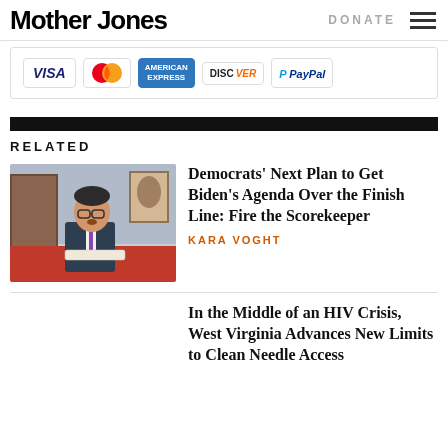Mother Jones
[Figure (logo): Payment logos: VISA, MasterCard, American Express, Discover, PayPal]
RELATED
[Figure (photo): Man in suit and glasses speaking at a hearing table with microphone]
Democrats' Next Plan to Get Biden's Agenda Over the Finish Line: Fire the Scorekeeper
KARA VOGHT
In the Middle of an HIV Crisis, West Virginia Advances New Limits to Clean Needle Access